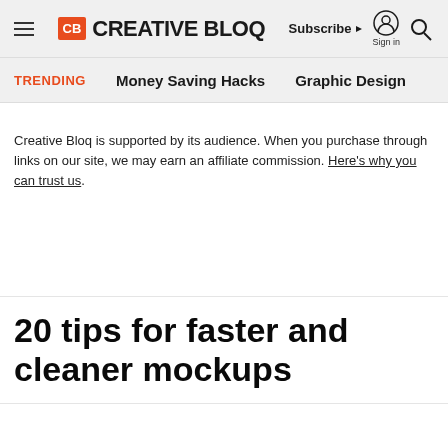CB CREATIVE BLOQ | Subscribe ▼ Sign in 🔍
TRENDING   Money Saving Hacks   Graphic Design
Creative Bloq is supported by its audience. When you purchase through links on our site, we may earn an affiliate commission. Here's why you can trust us.
20 tips for faster and cleaner mockups